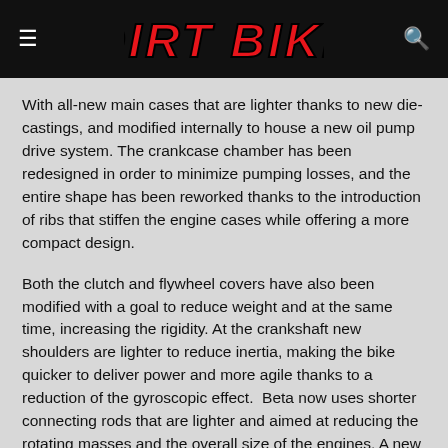DIRT BIKE
With all-new main cases that are lighter thanks to new die-castings, and modified internally to house a new oil pump drive system. The crankcase chamber has been redesigned in order to minimize pumping losses, and the entire shape has been reworked thanks to the introduction of ribs that stiffen the engine cases while offering a more compact design.
Both the clutch and flywheel covers have also been modified with a goal to reduce weight and at the same time, increasing the rigidity. At the crankshaft new shoulders are lighter to reduce inertia, making the bike quicker to deliver power and more agile thanks to a reduction of the gyroscopic effect.  Beta now uses shorter connecting rods that are lighter and aimed at reducing the rotating masses and the overall size of the engines. A new box in box piston is lighter reducing vibrations and an increase in performance.